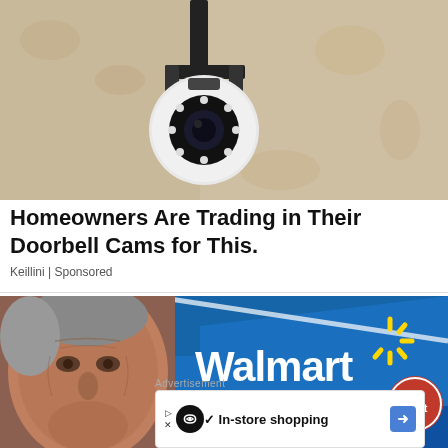[Figure (photo): Security camera mounted on a rough beige/tan textured wall, white dome camera with LED ring, black bracket mount, photographed from below against a gray sky.]
Homeowners Are Trading in Their Doorbell Cams for This.
Keillini | Sponsored
[Figure (photo): Composite image: close-up portrait of an elderly man with deeply wrinkled skin on the left, overlaid with a Walmart store exterior showing the blue building and yellow Walmart spark logo on the right. A circular 'The Print' badge appears in the lower right. An advertisement overlay bar at the bottom shows an in-store shopping ad.]
Advertisement
✓ In-store shopping